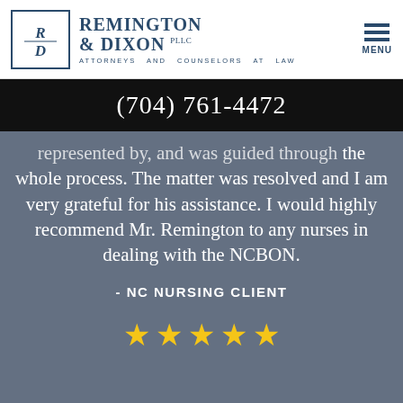[Figure (logo): Remington & Dixon PLLC law firm logo with RD monogram in a bordered box]
Remington & Dixon PLLC — Attorneys and Counselors at Law
(704) 761-4472
...represented by, and was guided through the whole process. The matter was resolved and I am very grateful for his assistance. I would highly recommend Mr. Remington to any nurses in dealing with the NCBON.
- NC NURSING CLIENT
[Figure (other): Five gold star rating]